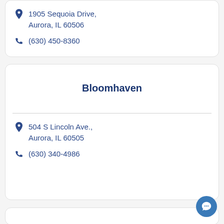1905 Sequoia Drive, Aurora, IL 60506
(630) 450-8360
Bloomhaven
504 S Lincoln Ave., Aurora, IL 60505
(630) 340-4986